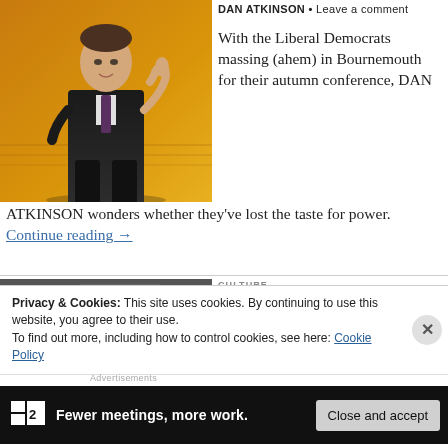[Figure (photo): Man in dark suit giving a thumbs up gesture on stage with an orange/golden background]
DAN ATKINSON • Leave a comment
With the Liberal Democrats massing (ahem) in Bournemouth for their autumn conference, DAN ATKINSON wonders whether they've lost the taste for power. Continue reading →
[Figure (photo): Partially visible image at bottom, grey tones]
CULTURE
Pick of the pops: under the sun
Privacy & Cookies: This site uses cookies. By continuing to use this website, you agree to their use.
To find out more, including how to control cookies, see here: Cookie Policy
Advertisements
Fewer meetings, more work.
Close and accept